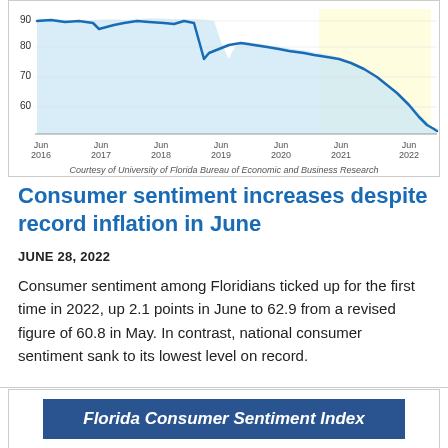[Figure (continuous-plot): Line chart showing Florida Consumer Sentiment Index from Jun 2016 to Jun 2022. The line starts around 90-95, remains high through 2019, drops sharply around 2020, recovers to ~80-83 range in 2021, then drops steeply to ~62.9 by Jun 2022. Background has a light yellow shaded region on the right portion. Y-axis shows values 60-90.]
Courtesy of University of Florida Bureau of Economic and Business Research
Consumer sentiment increases despite record inflation in June
JUNE 28, 2022
Consumer sentiment among Floridians ticked up for the first time in 2022, up 2.1 points in June to 62.9 from a revised figure of 60.8 in May. In contrast, national consumer sentiment sank to its lowest level on record.
[Figure (other): Blue banner with white italic bold text reading 'Florida Consumer Sentiment Index']